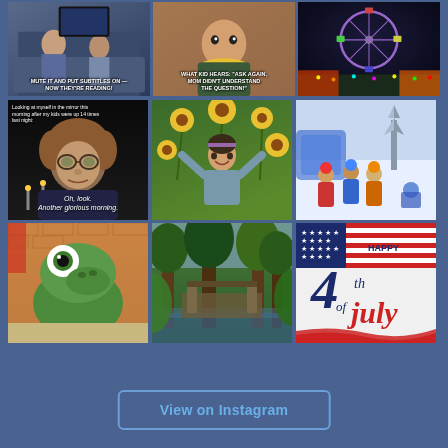[Figure (photo): Two kids on couch with meme text: MUTE IT AND PUT SUBTITLES ON - NOW THEY'RE READING!]
[Figure (photo): Young child with yellow scarf with meme text: WHAT KID HEARS: 'ASK AGAIN, MOM DIDN'T UNDERSTAND THE QUESTION!']
[Figure (photo): Ferris wheel and carnival at night]
[Figure (photo): Hocus Pocus movie meme - Looking at myself in the mirror this morning after my kids were up 14 times last night. Oh, look. Another glorious morning.]
[Figure (photo): Child in sunflower field with arms outstretched]
[Figure (photo): Children playing at water park or snow play area]
[Figure (photo): Cartoon crocodile/alligator sculpture outdoors]
[Figure (photo): Forest and water scene with trees]
[Figure (illustration): Happy 4th of July graphic with American flag design and script text]
View on Instagram